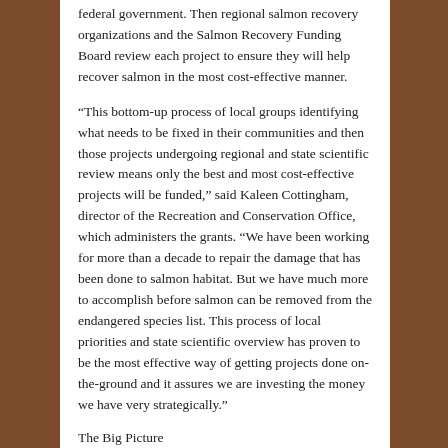federal government. Then regional salmon recovery organizations and the Salmon Recovery Funding Board review each project to ensure they will help recover salmon in the most cost-effective manner.
“This bottom-up process of local groups identifying what needs to be fixed in their communities and then those projects undergoing regional and state scientific review means only the best and most cost-effective projects will be funded,” said Kaleen Cottingham, director of the Recreation and Conservation Office, which administers the grants. “We have been working for more than a decade to repair the damage that has been done to salmon habitat. But we have much more to accomplish before salmon can be removed from the endangered species list. This process of local priorities and state scientific overview has proven to be the most effective way of getting projects done on-the-ground and it assures we are investing the money we have very strategically.”
The Big Picture
“Restoring our lakes, streams, rivers and ecosystem isn’t